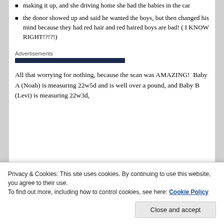making it up, and she driving home she had the babies in the car
the donor showed up and said he wanted the boys, but then changed his mind because they had red hair and red haired boys are bad! ( I KNOW RIGHT!?!?!)
Advertisements
All that worrying for nothing, because the scan was AMAZING!  Baby A (Noah) is measuring 22w5d and is well over a pound, and Baby B (Levi) is measuring 22w3d,
Privacy & Cookies: This site uses cookies. By continuing to use this website, you agree to their use.
To find out more, including how to control cookies, see here: Cookie Policy
Close and accept